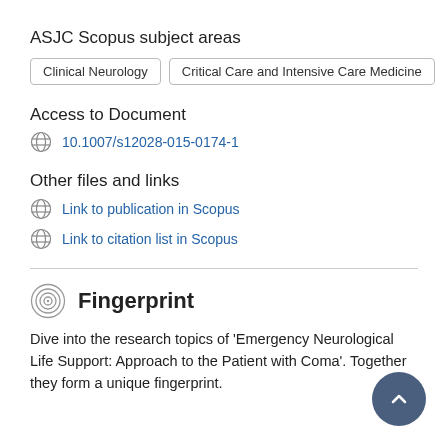ASJC Scopus subject areas
Clinical Neurology
Critical Care and Intensive Care Medicine
Access to Document
10.1007/s12028-015-0174-1
Other files and links
Link to publication in Scopus
Link to citation list in Scopus
Fingerprint
Dive into the research topics of 'Emergency Neurological Life Support: Approach to the Patient with Coma'. Together they form a unique fingerprint.